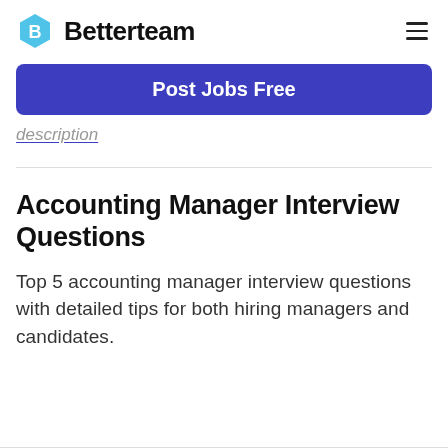Betterteam
Post Jobs Free
description
Accounting Manager Interview Questions
Top 5 accounting manager interview questions with detailed tips for both hiring managers and candidates.